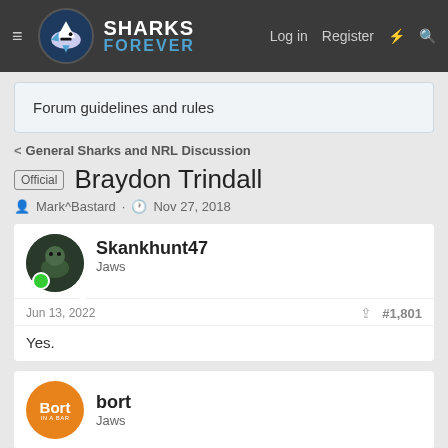[Figure (logo): Sharks Forever forum logo and navigation bar with hamburger menu, circular shark logo, brand name SHARKS FOREVER, Log in, Register, lightning bolt and search icons]
Forum guidelines and rules
General Sharks and NRL Discussion
Official Braydon Trindall
Mark^Bastard · Nov 27, 2018
Skankhunt47
Jaws
Jun 13, 2022  #1,801
Yes.
bort
Jaws